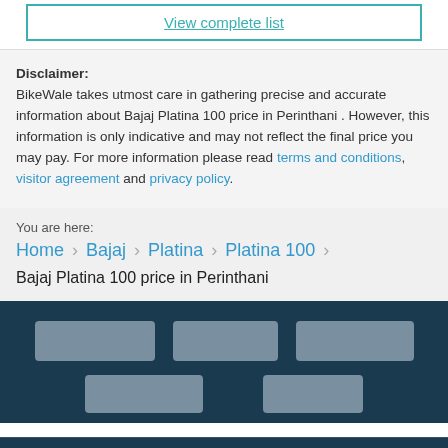View complete list
Disclaimer: BikeWale takes utmost care in gathering precise and accurate information about Bajaj Platina 100 price in Perinthani . However, this information is only indicative and may not reflect the final price you may pay. For more information please read terms and conditions, visitor agreement and privacy policy.
You are here:
Home › Bajaj › Platina › Platina 100 ›
Bajaj Platina 100 price in Perinthani
[Figure (screenshot): App store download buttons placeholder icons in dark navy footer]
About Us
Download Mobile App